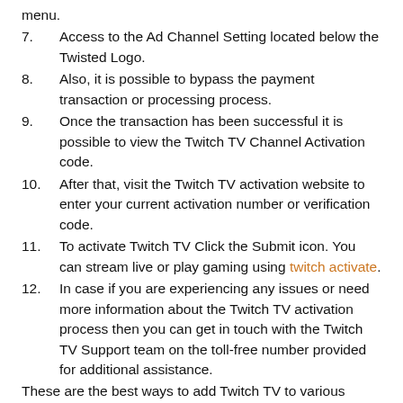menu.
7.    Access to the Ad Channel Setting located below the Twisted Logo.
8.    Also, it is possible to bypass the payment transaction or processing process.
9.    Once the transaction has been successful it is possible to view the Twitch TV Channel Activation code.
10.   After that, visit the Twitch TV activation website to enter your current activation number or verification code.
11.   To activate Twitch TV Click the Submit icon. You can stream live or play gaming using twitch activate.
12.   In case if you are experiencing any issues or need more information about the Twitch TV activation process then you can get in touch with the Twitch TV Support team on the toll-free number provided for additional assistance.
These are the best ways to add Twitch TV to various devices. They can help you as well